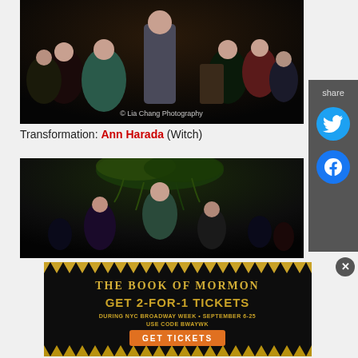[Figure (photo): Theater performance photo showing performers in various costumes on stage, with a woman in a dark gown standing center. Watermark reads '© Lia Chang Photography']
Transformation: Ann Harada (Witch)
[Figure (photo): Theater performance photo showing performers on stage with foliage decorations overhead]
[Figure (infographic): Advertisement banner for 'The Book of Mormon' offering GET 2-FOR-1 TICKETS DURING NYC BROADWAY WEEK • SEPTEMBER 6-25 USE CODE BWAYWK with a GET TICKETS button]